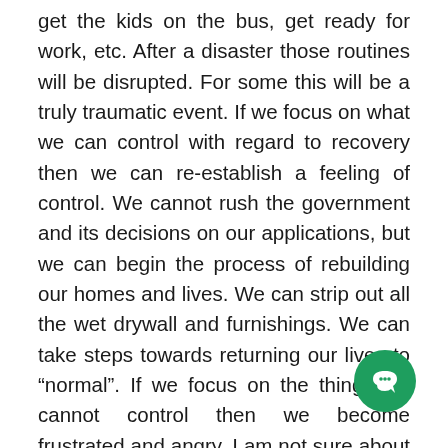get the kids on the bus, get ready for work, etc. After a disaster those routines will be disrupted. For some this will be a truly traumatic event. If we focus on what we can control with regard to recovery then we can re-establish a feeling of control. We cannot rush the government and its decisions on our applications, but we can begin the process of rebuilding our homes and lives. We can strip out all the wet drywall and furnishings. We can take steps towards returning our lives to “normal”. If we focus on the things we cannot control then we become frustrated and angry. I am not sure about the rest of you, but I do not always make good decisions when I am angry. Second goes back to daily routines. We all strive to maintain them. When interrupted we can feel lost, disorganized. After a disaster we should try to return to as many routines as we can. Whether its getting the kids on the